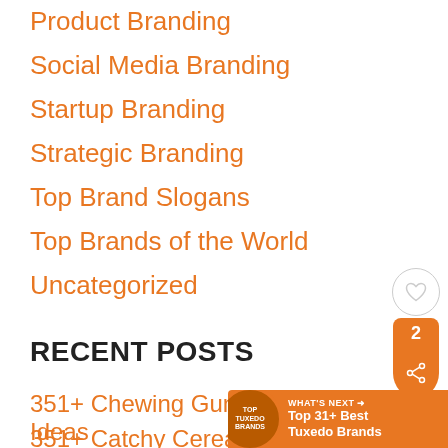Product Branding
Social Media Branding
Startup Branding
Strategic Branding
Top Brand Slogans
Top Brands of the World
Uncategorized
RECENT POSTS
351+ Chewing Gum Brand Name Ideas
351+ Catchy Cereal Bar Brand Name Ideas